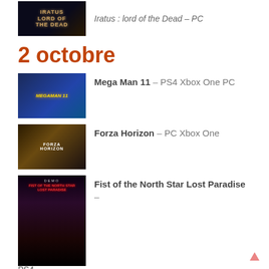[Figure (photo): Game cover thumbnail for Iratus: Lord of the Dead]
Iratus : lord of the Dead – PC
2 octobre
[Figure (photo): Game cover thumbnail for Mega Man 11]
Mega Man 11 – PS4 Xbox One PC
[Figure (photo): Game cover thumbnail for Forza Horizon]
Forza Horizon – PC  Xbox One
[Figure (photo): Game cover thumbnail for Fist of the North Star Lost Paradise (DEMO)]
Fist of the North Star Lost Paradise –
PS4
The Surge : The Good, The Bad and the